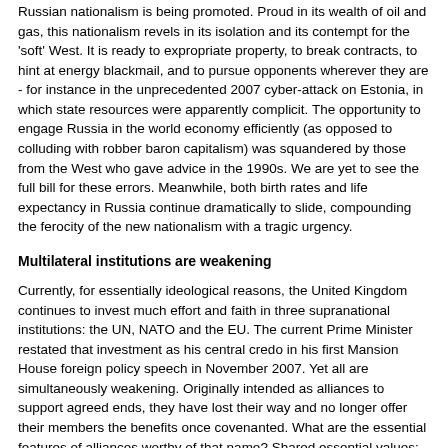Russian nationalism is being promoted. Proud in its wealth of oil and gas, this nationalism revels in its isolation and its contempt for the 'soft' West. It is ready to expropriate property, to break contracts, to hint at energy blackmail, and to pursue opponents wherever they are - for instance in the unprecedented 2007 cyber-attack on Estonia, in which state resources were apparently complicit. The opportunity to engage Russia in the world economy efficiently (as opposed to colluding with robber baron capitalism) was squandered by those from the West who gave advice in the 1990s. We are yet to see the full bill for these errors. Meanwhile, both birth rates and life expectancy in Russia continue dramatically to slide, compounding the ferocity of the new nationalism with a tragic urgency.
Multilateral institutions are weakening
Currently, for essentially ideological reasons, the United Kingdom continues to invest much effort and faith in three supranational institutions: the UN, NATO and the EU. The current Prime Minister restated that investment as his central credo in his first Mansion House foreign policy speech in November 2007. Yet all are simultaneously weakening. Originally intended as alliances to support agreed ends, they have lost their way and no longer offer their members the benefits once covenanted. What are the essential features of alliances worthy of that name? Shared essential values; shared culture, and especially military